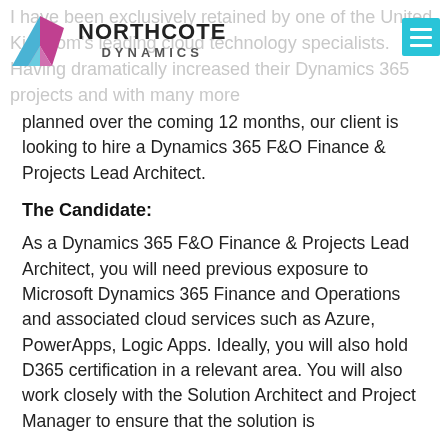Northcote Dynamics logo and navigation
I have been exclusively retained by one of the United Kingdom's leading cloud technology specialists. Having dramatically increased their Dynamics 365 projects and with many more planned over the coming 12 months, our client is looking to hire a Dynamics 365 F&O Finance & Projects Lead Architect.
The Candidate:
As a Dynamics 365 F&O Finance & Projects Lead Architect, you will need previous exposure to Microsoft Dynamics 365 Finance and Operations and associated cloud services such as Azure, PowerApps, Logic Apps. Ideally, you will also hold D365 certification in a relevant area. You will also work closely with the Solution Architect and Project Manager to ensure that the solution is